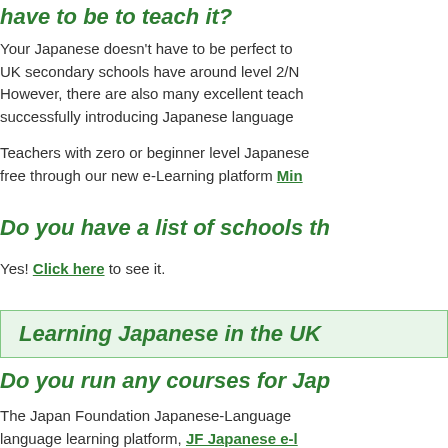have to be to teach it?
Your Japanese doesn't have to be perfect to UK secondary schools have around level 2/N However, there are also many excellent teach successfully introducing Japanese language
Teachers with zero or beginner level Japanese free through our new e-Learning platform Min
Do you have a list of schools th
Yes! Click here to see it.
Learning Japanese in the UK
Do you run any courses for Jap
The Japan Foundation Japanese-Language language learning platform, JF Japanese e-l to study Japanese for all those people in the